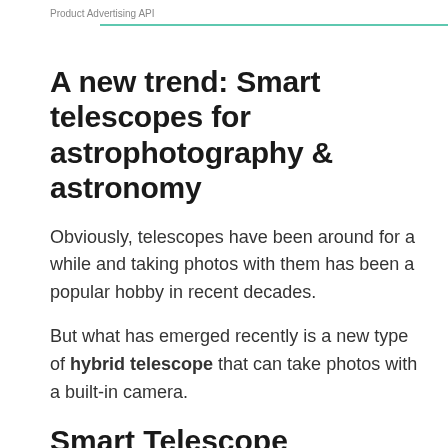Product Advertising API
A new trend: Smart telescopes for astrophotography & astronomy
Obviously, telescopes have been around for a while and taking photos with them has been a popular hobby in recent decades.
But what has emerged recently is a new type of hybrid telescope that can take photos with a built-in camera.
Smart Telescope